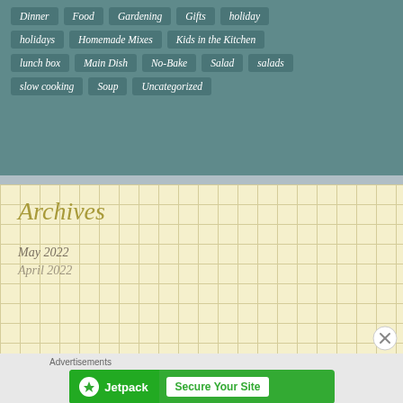Dinner | Food | Gardening | Gifts | holiday
holidays | Homemade Mixes | Kids in the Kitchen
lunch box | Main Dish | No-Bake | Salad | salads
slow cooking | Soup | Uncategorized
Archives
May 2022
April 2022
Advertisements
[Figure (other): Jetpack advertisement banner with green background showing Jetpack logo and 'Secure Your Site' button]